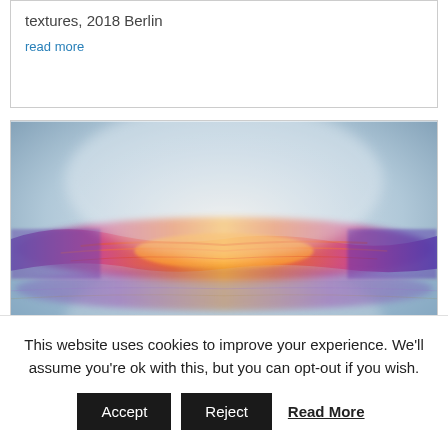textures, 2018 Berlin
read more
[Figure (photo): Abstract painting showing a vibrant horizontal band of orange, red, and yellow flames or texture in the center, with blue-purple tones on the sides, set against a pale blue-grey background. The composition evokes a phoenix or sunrise.]
This website uses cookies to improve your experience. We'll assume you're ok with this, but you can opt-out if you wish.
Accept
Reject
Read More